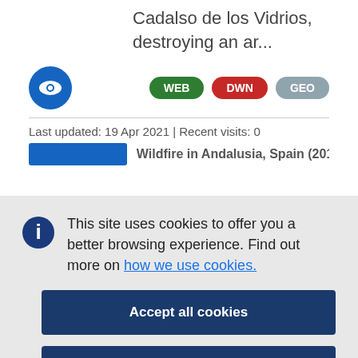Cadalso de los Vidrios, destroying an ar...
[Figure (logo): Blue circular icon with eye symbol]
WEB DWN GEO (badge buttons)
Last updated: 19 Apr 2021 | Recent visits: 0
Wildfire in Andalusia, Spain (2019...
This site uses cookies to offer you a better browsing experience. Find out more on how we use cookies.
Accept all cookies
Accept only essential cookies